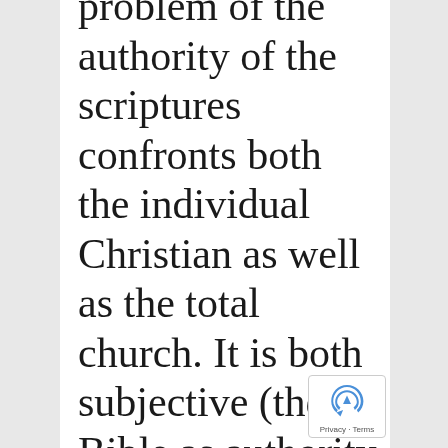problem of the authority of the scriptures confronts both the individual Christian as well as the total church. It is both subjective (the Bible as authority for me personally) and objective authority (Bible as authority in the church's